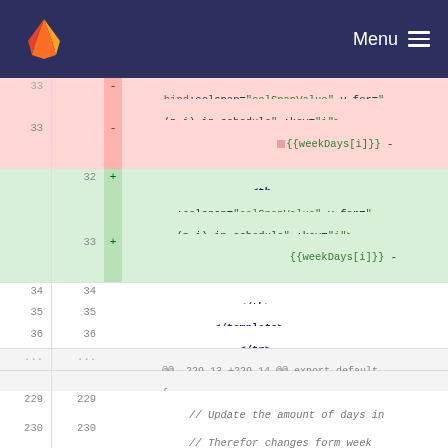GitLab — Menu
Code diff showing lines 32-36 and 229-230 of a Vue.js file. Deleted line 33 shows weekDays template expression. Added lines 32-33 show <th> with colspan and v-for bindings and weekDays expression. Lines 34-36 show </th>, </template>, </tr>. Meta line shows @@ -229,13 +229,14 @@ export default {. Lines 229-230 show JS comments about updating days and therefor changes form week to day view.